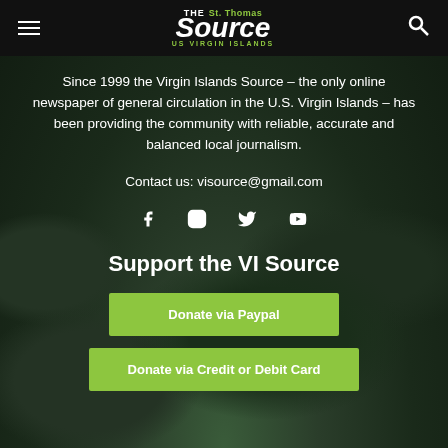[Figure (logo): The St. Thomas Source - US Virgin Islands newspaper logo in white and green on black navbar]
Since 1999 the Virgin Islands Source – the only online newspaper of general circulation in the U.S. Virgin Islands – has been providing the community with reliable, accurate and balanced local journalism.
Contact us: visource@gmail.com
[Figure (other): Social media icons: Facebook, Instagram, Twitter, YouTube]
Support the VI Source
Donate via Paypal
Donate via Credit or Debit Card